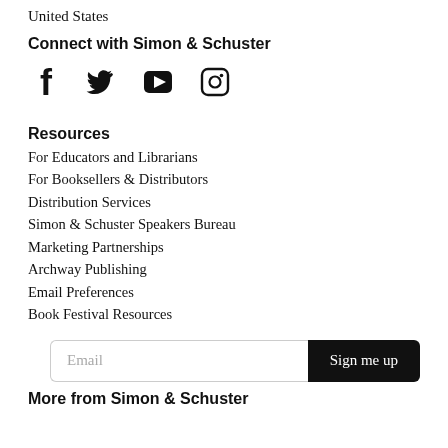United States
Connect with Simon & Schuster
[Figure (illustration): Social media icons: Facebook, Twitter, YouTube, Instagram]
Resources
For Educators and Librarians
For Booksellers & Distributors
Distribution Services
Simon & Schuster Speakers Bureau
Marketing Partnerships
Archway Publishing
Email Preferences
Book Festival Resources
Email Sign me up
More from Simon & Schuster